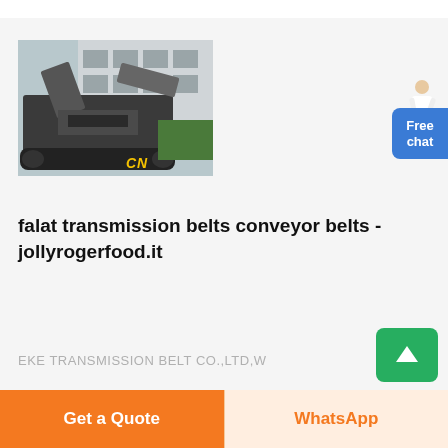[Figure (photo): Industrial conveyor belt machine (tracked vehicle/crawler) photographed outdoors near a building, with yellow 'CN' text watermark in lower-right corner]
falat transmission belts conveyor belts - jollyrogerfood.it
EKE TRANSMISSION BELT CO.,LTD,W